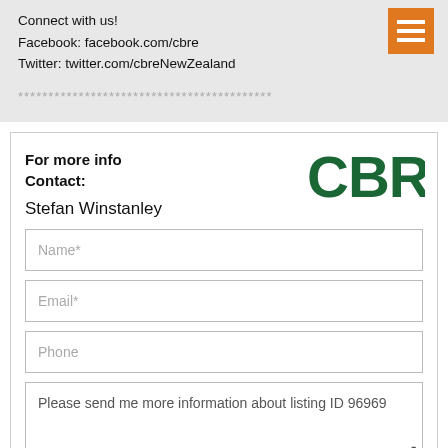Connect with us!
Facebook: facebook.com/cbre
Twitter: twitter.com/cbreNewZealand
[Figure (other): Orange hamburger menu icon with three white horizontal lines]
******************************************
For more info
Contact:
[Figure (logo): CBRE green logo text]
Stefan Winstanley
Name*
Email*
Phone
Please send me more information about listing ID 96969